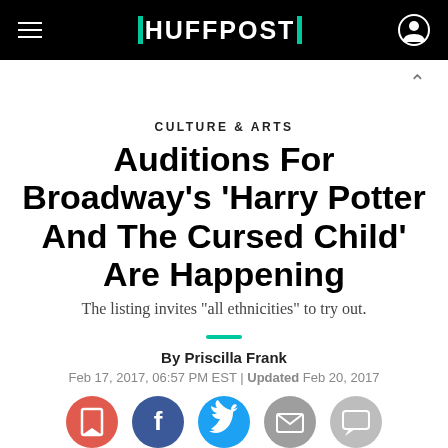HUFFPOST
CULTURE & ARTS
Auditions For Broadway's 'Harry Potter And The Cursed Child' Are Happening
The listing invites "all ethnicities" to try out.
By Priscilla Frank
Feb 17, 2017, 06:57 PM EST | Updated Feb 20, 2017